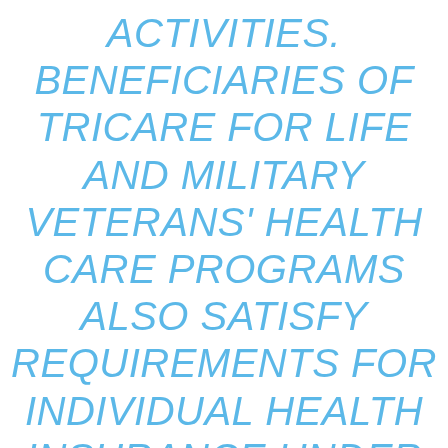ACTIVITIES. BENEFICIARIES OF TRICARE FOR LIFE AND MILITARY VETERANS' HEALTH CARE PROGRAMS ALSO SATISFY REQUIREMENTS FOR INDIVIDUAL HEALTH INSURANCE UNDER THE HEALTH CARE REFORM BILL AND WILL NOT BE REQUIRED TO PURCHASE ADDITIONAL